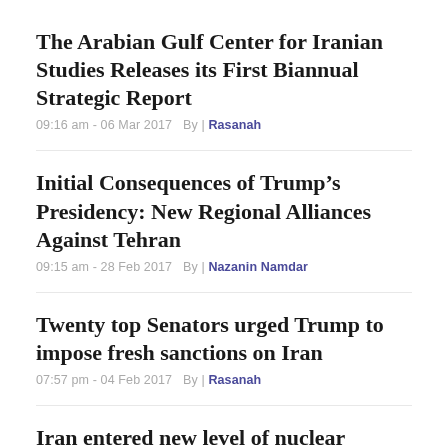The Arabian Gulf Center for Iranian Studies Releases its First Biannual Strategic Report
09:16 am - 06 Mar 2017   By | Rasanah
Initial Consequences of Trump's Presidency: New Regional Alliances Against Tehran
09:15 am - 28 Feb 2017   By | Nazanin Namdar
Twenty top Senators urged Trump to impose fresh sanctions on Iran
07:57 pm - 04 Feb 2017   By | Rasanah
Iran entered new level of nuclear industry and Larijani calls to react for Trump's decision
10:22 am - 02 Feb 2017   By | Rasanah